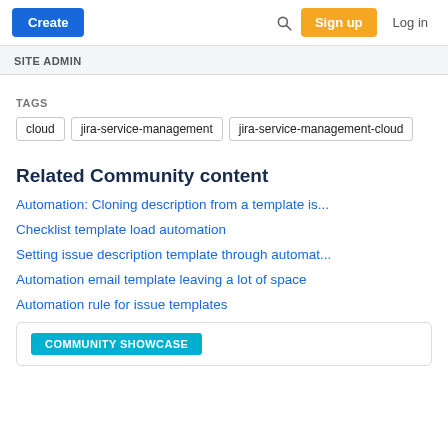Create  Sign up  Log in
SITE ADMIN
TAGS
cloud
jira-service-management
jira-service-management-cloud
Related Community content
Automation: Cloning description from a template is...
Checklist template load automation
Setting issue description template through automat...
Automation email template leaving a lot of space
Automation rule for issue templates
COMMUNITY SHOWCASE